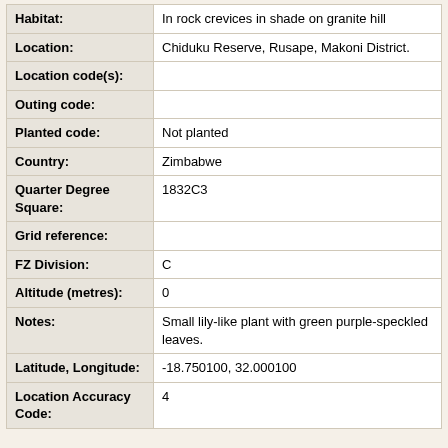| Field | Value |
| --- | --- |
| Habitat: | In rock crevices in shade on granite hill |
| Location: | Chiduku Reserve, Rusape, Makoni District. |
| Location code(s): |  |
| Outing code: |  |
| Planted code: | Not planted |
| Country: | Zimbabwe |
| Quarter Degree Square: | 1832C3 |
| Grid reference: |  |
| FZ Division: | C |
| Altitude (metres): | 0 |
| Notes: | Small lily-like plant with green purple-speckled leaves. |
| Latitude, Longitude: | -18.750100, 32.000100 |
| Location Accuracy Code: | 4 |